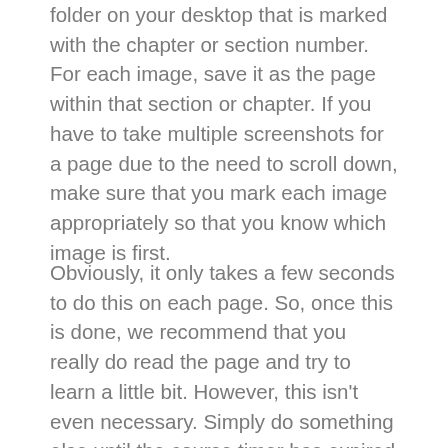folder on your desktop that is marked with the chapter or section number. For each image, save it as the page within that section or chapter. If you have to take multiple screenshots for a page due to the need to scroll down, make sure that you mark each image appropriately so that you know which image is first.
Obviously, it only takes a few seconds to do this on each page. So, once this is done, we recommend that you really do read the page and try to learn a little bit. However, this isn't even necessary. Simply do something else until the course timer has expired and allows you to move forward and repeat the process. Once you